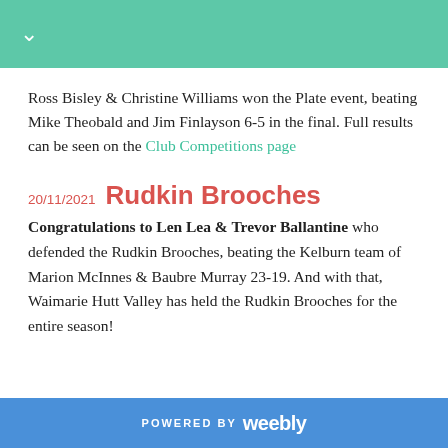↓
Ross Bisley & Christine Williams won the Plate event, beating Mike Theobald and Jim Finlayson 6-5 in the final. Full results can be seen on the Club Competitions page
20/11/2021 Rudkin Brooches
Congratulations to Len Lea & Trevor Ballantine who defended the Rudkin Brooches, beating the Kelburn team of Marion McInnes & Baubre Murray 23-19. And with that, Waimarie Hutt Valley has held the Rudkin Brooches for the entire season!
POWERED BY weebly